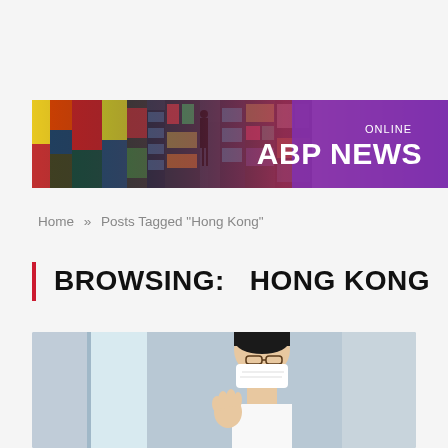[Figure (screenshot): ABP News Online banner with city billboard background and gradient logo]
Home » Posts Tagged "Hong Kong"
BROWSING: HONG KONG
[Figure (photo): Person wearing face mask and waving, photographed indoors]